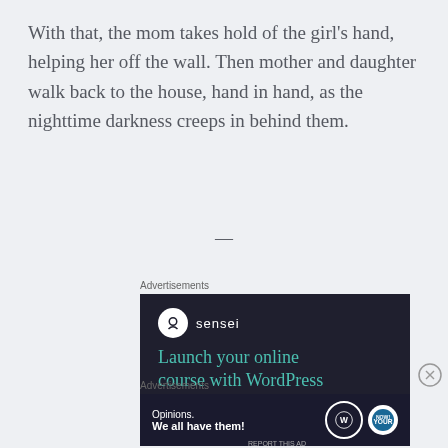With that, the mom takes hold of the girl’s hand, helping her off the wall. Then mother and daughter walk back to the house, hand in hand, as the nighttime darkness creeps in behind them.
—
Advertisements
[Figure (photo): Advertisement banner for Sensei: dark background with Sensei logo and headline 'Launch your online course with WordPress']
Advertisements
[Figure (photo): Advertisement banner with dark background: 'Opinions. We all have them!' with WordPress logo and another circular logo]